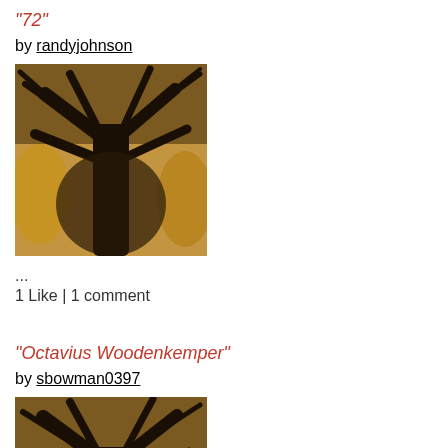"72"
by randyjohnson
[Figure (photo): Looking up at a large bare tree with dark branches spreading outward against a warm golden-brown sky/background]
...
1 Like | 1 comment
"Octavius Woodenkemper"
by sbowman0397
[Figure (photo): Looking up at a large bare tree with dark branches spreading outward against a warm golden-brown sky/background]
Am I a dozen miles from the beauty of this world?